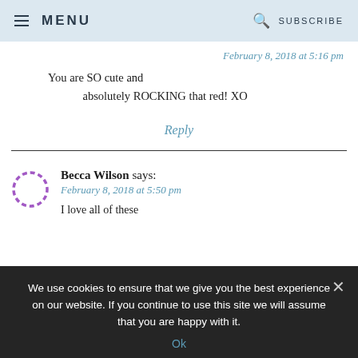MENU | SUBSCRIBE
February 8, 2018 at 5:16 pm
You are SO cute and absolutely ROCKING that red! XO
Reply
Becca Wilson says:
February 8, 2018 at 5:50 pm
I love all of these
We use cookies to ensure that we give you the best experience on our website. If you continue to use this site we will assume that you are happy with it.
Ok